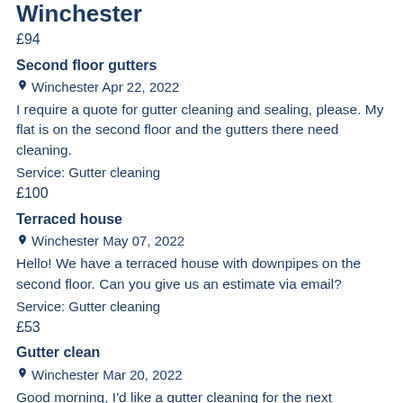Winchester
£94
Second floor gutters
Winchester Apr 22, 2022
I require a quote for gutter cleaning and sealing, please. My flat is on the second floor and the gutters there need cleaning.
Service: Gutter cleaning
£100
Terraced house
Winchester May 07, 2022
Hello! We have a terraced house with downpipes on the second floor. Can you give us an estimate via email?
Service: Gutter cleaning
£53
Gutter clean
Winchester Mar 20, 2022
Good morning, I'd like a gutter cleaning for the next